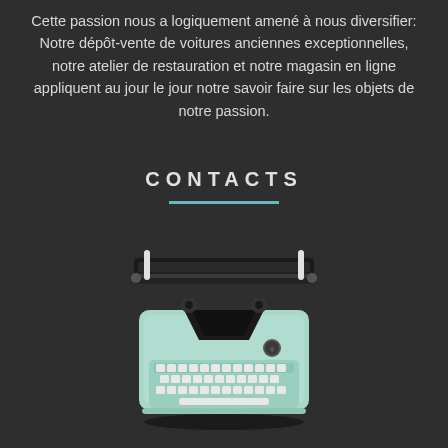Cette passion nous a logiquement amené à nous diversifier: Notre dépôt-vente de voitures anciennes exceptionnelles, notre atelier de restauration et notre magasin en ligne appliquent au jour le jour notre savoir faire sur les objets de notre passion.
CONTACTS
[Figure (photo): A vintage mint-green typewriter photographed from above on a dark background]